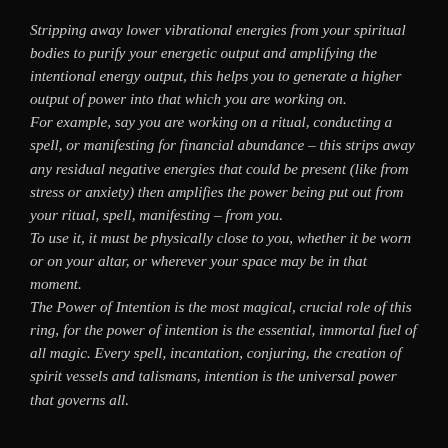Stripping away lower vibrational energies from your spiritual bodies to purify your energetic output and amplifying the intentional energy output, this helps you to generate a higher output of power into that which you are working on.
For example, say you are working on a ritual, conducting a spell, or manifesting for financial abundance – this strips away any residual negative energies that could be present (like from stress or anxiety) then amplifies the power being put out from your ritual, spell, manifesting – from you.
To use it, it must be physically close to you, whether it be worn or on your altar, or wherever your space may be in that moment.
The Power of Intention is the most magical, crucial role of this ring, for the power of intention is the essential, immortal fuel of all magic. Every spell, incantation, conjuring, the creation of spirit vessels and talismans, intention is the universal power that governs all.